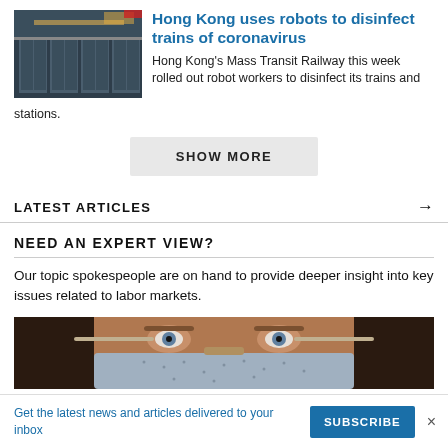[Figure (photo): Photo of train station/trains interior, dark tones]
Hong Kong uses robots to disinfect trains of coronavirus
Hong Kong's Mass Transit Railway this week rolled out robot workers to disinfect its trains and stations.
SHOW MORE
LATEST ARTICLES →
NEED AN EXPERT VIEW?
Our topic spokespeople are on hand to provide deeper insight into key issues related to labor markets.
[Figure (photo): Close-up photo of a person wearing a face mask, eyes visible]
Get the latest news and articles delivered to your inbox